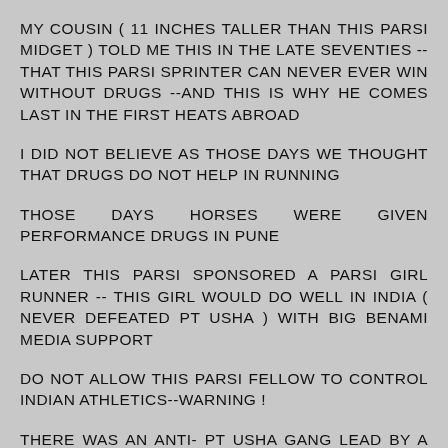MY COUSIN ( 11 INCHES TALLER THAN THIS PARSI MIDGET ) TOLD ME THIS IN THE LATE SEVENTIES -- THAT THIS PARSI SPRINTER CAN NEVER EVER WIN WITHOUT DRUGS --AND THIS IS WHY HE COMES LAST IN THE FIRST HEATS ABROAD
I DID NOT BELIEVE AS THOSE DAYS WE THOUGHT THAT DRUGS DO NOT HELP IN RUNNING
THOSE DAYS HORSES WERE GIVEN PERFORMANCE DRUGS IN PUNE
LATER THIS PARSI SPONSORED A PARSI GIRL RUNNER -- THIS GIRL WOULD DO WELL IN INDIA ( NEVER DEFEATED PT USHA ) WITH BIG BENAMI MEDIA SUPPORT
DO NOT ALLOW THIS PARSI FELLOW TO CONTROL INDIAN ATHLETICS--WARNING !
THERE WAS AN ANTI- PT USHA GANG LEAD BY A KARNATAKA WOMAN SPRINTER ( WHO WORE TIGHT